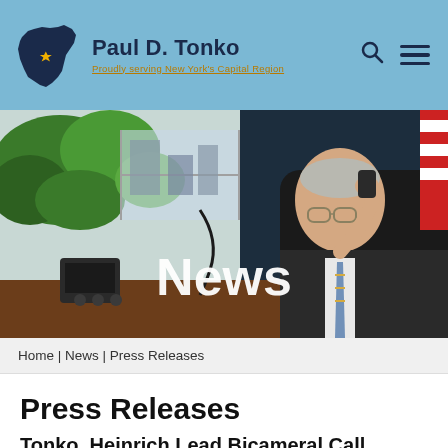Paul D. Tonko — Proudly serving New York's Capital Region
[Figure (photo): Hero image showing Congressman Paul D. Tonko on the phone in his office, with plants and an American flag visible in background. Large white text overlay reads 'News'.]
Home | News | Press Releases
Press Releases
Tonko, Heinrich Lead Bicameral Call